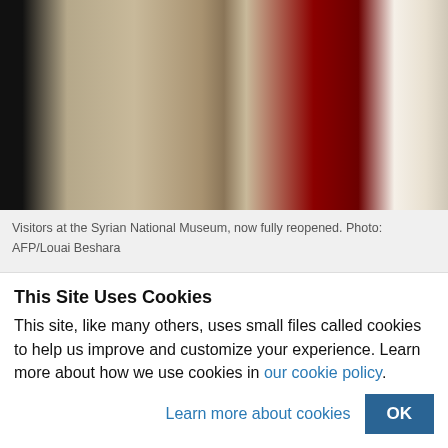[Figure (photo): Photo of visitors at the Syrian National Museum showing a stone relief artifact being held, with dark background and red/white elements visible]
Visitors at the Syrian National Museum, now fully reopened. Photo: AFP/Louai Beshara
In November, an exhibition of 150 artifacts from the tomb of Tutankhamun will arrive
This Site Uses Cookies
This site, like many others, uses small files called cookies to help us improve and customize your experience. Learn more about how we use cookies in our cookie policy.
Learn more about cookies
OK